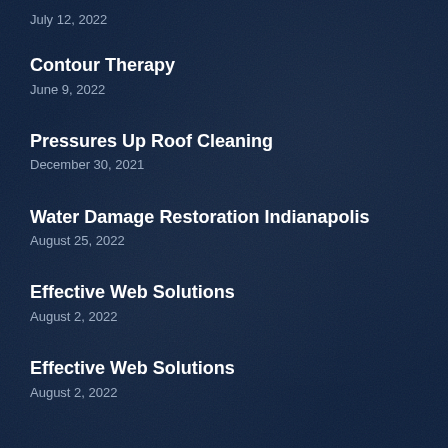July 12, 2022
Contour Therapy
June 9, 2022
Pressures Up Roof Cleaning
December 30, 2021
Water Damage Restoration Indianapolis
August 25, 2022
Effective Web Solutions
August 2, 2022
Effective Web Solutions
August 2, 2022